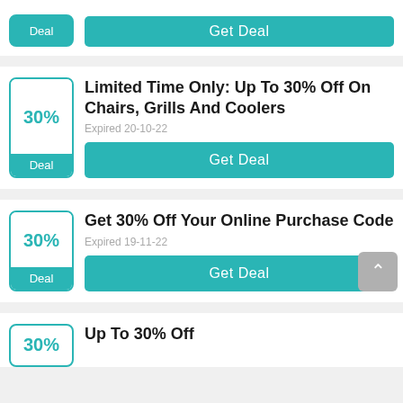Deal — Get Deal — Expired 20-10-22
30% — Deal — Limited Time Only: Up To 30% Off On Chairs, Grills And Coolers — Expired 20-10-22 — Get Deal
30% — Deal — Get 30% Off Your Online Purchase Code — Expired 19-11-22 — Get Deal
Up To 30% Off